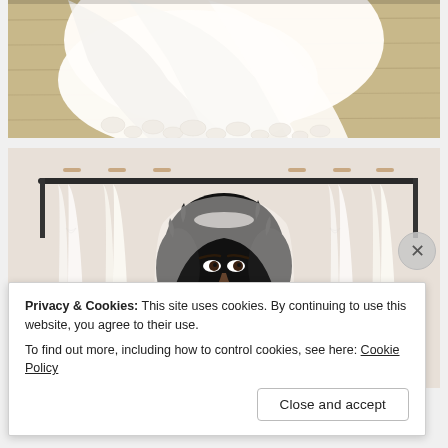[Figure (photo): Close-up of a wedding dress veil with lace appliqué on the hem, laid out on a light wood floor]
[Figure (photo): A smiling bride with dark curly hair wearing a veil, standing in a bridal boutique with white wedding dresses on a rack behind her]
Privacy & Cookies: This site uses cookies. By continuing to use this website, you agree to their use.
To find out more, including how to control cookies, see here: Cookie Policy
Close and accept